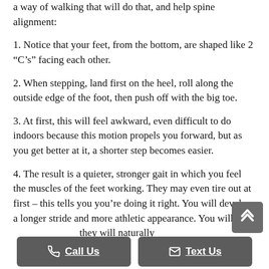a way of walking that will do that, and help spine alignment:
1. Notice that your feet, from the bottom, are shaped like 2 “C’s” facing each other.
2. When stepping, land first on the heel, roll along the outside edge of the foot, then push off with the big toe.
3. At first, this will feel awkward, even difficult to do indoors because this motion propels you forward, but as you get better at it, a shorter step becomes easier.
4. The result is a quieter, stronger gait in which you feel the muscles of the feet working. They may even tire out at first – this tells you you’re doing it right. You will develop a longer stride and more athletic appearance. You will a[l]... g y[our posture as]... they will naturally...